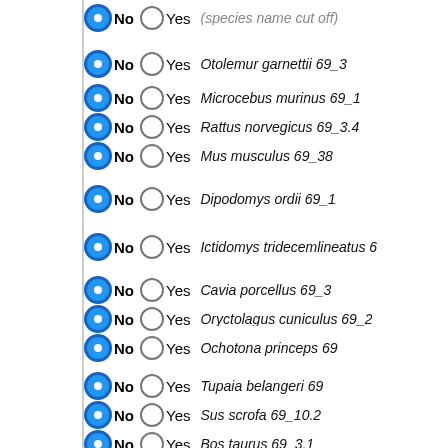No / Yes — (partial top row, species name cut off)
No / Yes — Otolemur garnettii 69_3
No / Yes — Microcebus murinus 69_1
No / Yes — Rattus norvegicus 69_3.4
No / Yes — Mus musculus 69_38
No / Yes — Dipodomys ordii 69_1
No / Yes — Ictidomys tridecemlineatus 6…
No / Yes — Cavia porcellus 69_3
No / Yes — Oryctolagus cuniculus 69_2
No / Yes — Ochotona princeps 69
No / Yes — Tupaia belangeri 69
No / Yes — Sus scrofa 69_10.2
No / Yes — Bos taurus 69_3.1
No / Yes — Vicugna pacos 69_1
No / Yes — Tursiops truncatus 69_1
No / Yes — Mustela putorius furo 69_1.0…
No / Yes — Ailuropoda melanoleuca 69…